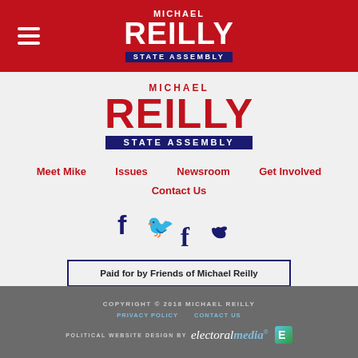MICHAEL REILLY STATE ASSEMBLY (header bar with hamburger menu)
[Figure (logo): Michael Reilly State Assembly campaign logo — MICHAEL in small caps, REILLY in large red bold text, STATE ASSEMBLY in white on navy banner]
Meet Mike   Issues   Newsroom   Get Involved
Contact Us
[Figure (infographic): Facebook and Twitter social media icons in navy/dark blue]
Paid for by Friends of Michael Reilly
COPYRIGHT © 2018 MICHAEL REILLY | PRIVACY POLICY | CONTACT US | POLITICAL WEBSITE DESIGN BY electoralmedia®